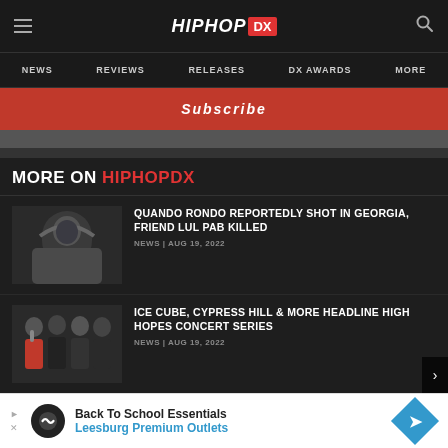HIPHOP DX — NEWS | REVIEWS | RELEASES | DX AWARDS | MORE
Subscribe
MORE ON HIPHOPDX
QUANDO RONDO REPORTEDLY SHOT IN GEORGIA, FRIEND LUL PAB KILLED — NEWS | AUG 19, 2022
ICE CUBE, CYPRESS HILL & MORE HEADLINE HIGH HOPES CONCERT SERIES — NEWS | AUG 19, 2022
VIRTUAL RAPPER FN MEKA BECOMES 'FIRST AR ARTIST' SIGNED TO MAJOR LABEL
[Figure (screenshot): Back To School Essentials - Leesburg Premium Outlets advertisement banner]